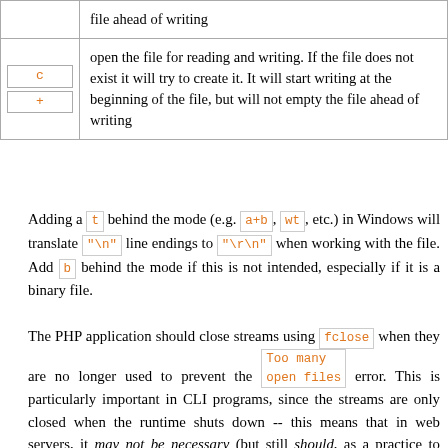| Mode | Description |
| --- | --- |
| c
+ | open the file for reading and writing. If the file does not exist it will try to create it. It will start writing at the beginning of the file, but will not empty the file ahead of writing |
Adding a t behind the mode (e.g. a+b, wt, etc.) in Windows will translate "\n" line endings to "\r\n" when working with the file. Add b behind the mode if this is not intended, especially if it is a binary file.
The PHP application should close streams using fclose when they are no longer used to prevent the Too many open files error. This is particularly important in CLI programs, since the streams are only closed when the runtime shuts down -- this means that in web servers, it may not be necessary (but still should, as a practice to prevent resource leak) to close the streams if you do not